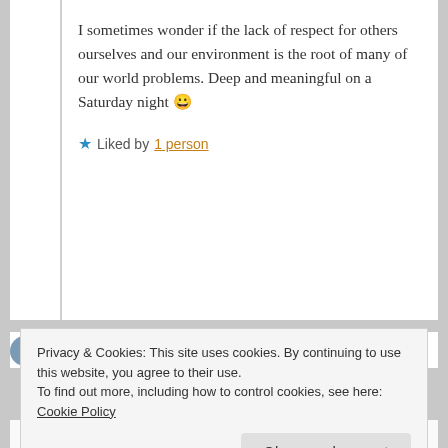I sometimes wonder if the lack of respect for others ourselves and our environment is the root of many of our world problems. Deep and meaningful on a Saturday night 😀
★ Liked by 1 person
Privacy & Cookies: This site uses cookies. By continuing to use this website, you agree to their use. To find out more, including how to control cookies, see here: Cookie Policy
Close and accept
own specific little bubble and what's happening to